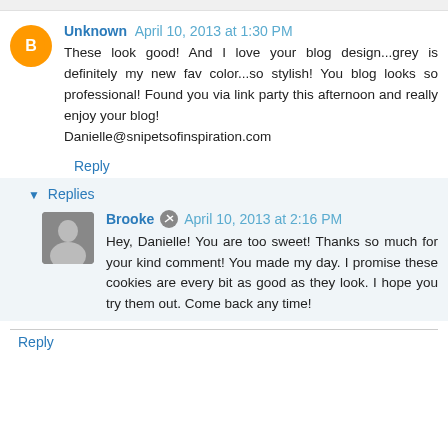Unknown April 10, 2013 at 1:30 PM
These look good! And I love your blog design...grey is definitely my new fav color...so stylish! You blog looks so professional! Found you via link party this afternoon and really enjoy your blog!
Danielle@snipetsofinspiration.com
Reply
Replies
Brooke April 10, 2013 at 2:16 PM
Hey, Danielle! You are too sweet! Thanks so much for your kind comment! You made my day. I promise these cookies are every bit as good as they look. I hope you try them out. Come back any time!
Reply